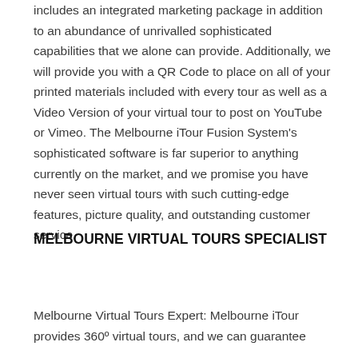includes an integrated marketing package in addition to an abundance of unrivalled sophisticated capabilities that we alone can provide. Additionally, we will provide you with a QR Code to place on all of your printed materials included with every tour as well as a Video Version of your virtual tour to post on YouTube or Vimeo. The Melbourne iTour Fusion System's sophisticated software is far superior to anything currently on the market, and we promise you have never seen virtual tours with such cutting-edge features, picture quality, and outstanding customer service.
MELBOURNE VIRTUAL TOURS SPECIALIST
Melbourne Virtual Tours Expert: Melbourne iTour provides 360º virtual tours, and we can guarantee